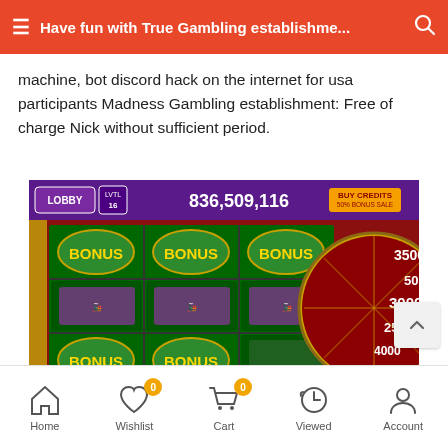Have fun with True Gambling establishme...
machine, bot discord hack on the internet for usa participants Madness Gambling establishment: Free of charge Nick without sufficient period.
[Figure (screenshot): Screenshot of a mobile casino slot game showing BONUS and train symbols on reels, with a spin wheel showing values 3500, 500, 3000, 2500, 4000. Credit count shows 836,509,116 at top. Betting area shows 10,000,000 bet and 90,000,000 winnings. Green SPIN button visible at bottom right.]
Home  Wishlist  Cart  Viewed  Account